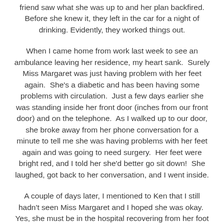friend saw what she was up to and her plan backfired. Before she knew it, they left in the car for a night of drinking. Evidently, they worked things out.
When I came home from work last week to see an ambulance leaving her residence, my heart sank.  Surely Miss Margaret was just having problem with her feet again.  She's a diabetic and has been having some problems with circulation.  Just a few days earlier she was standing inside her front door (inches from our front door) and on the telephone.  As I walked up to our door, she broke away from her phone conversation for a minute to tell me she was having problems with her feet again and was going to need surgery.  Her feet were bright red, and I told her she'd better go sit down!  She laughed, got back to her conversation, and I went inside.
A couple of days later, I mentioned to Ken that I still hadn't seen Miss Margaret and I hoped she was okay.  Yes, she must be in the hospital recovering from her foot surgery.  When Ken came inside this past Sunday from putting out the trash, he told me that Miss Margaret's daughter was...